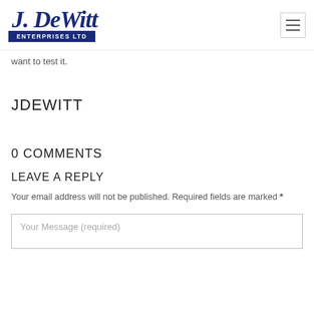J. DeWitt Enterprises Ltd
want to test it.
JDEWITT
0 COMMENTS
LEAVE A REPLY
Your email address will not be published. Required fields are marked *
Your Message (required)